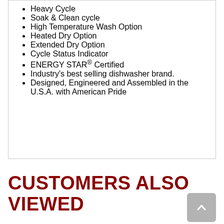Heavy Cycle
Soak & Clean cycle
High Temperature Wash Option
Heated Dry Option
Extended Dry Option
Cycle Status Indicator
ENERGY STAR® Certified
Industry's best selling dishwasher brand.
Designed, Engineered and Assembled in the U.S.A. with American Pride
CUSTOMERS ALSO VIEWED